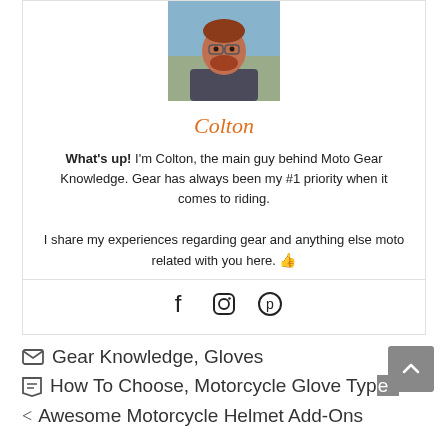[Figure (photo): Author photo of a person with red beard outdoors]
Colton
What's up! I'm Colton, the main guy behind Moto Gear Knowledge. Gear has always been my #1 priority when it comes to riding.

I share my experiences regarding gear and anything else moto related with you here. 👍
[Figure (infographic): Social media icons: Facebook, Instagram, Pinterest]
Gear Knowledge, Gloves
How To Choose, Motorcycle Glove Types
Awesome Motorcycle Helmet Add-Ons